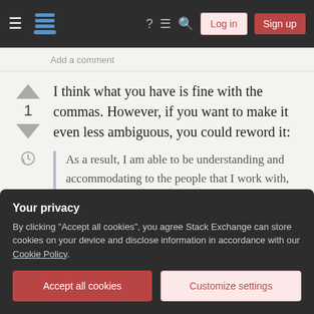[Figure (screenshot): Stack Exchange navigation bar with hamburger menu, logo, icons (help, chat, search), Log in and Sign up buttons]
Add a comment
I think what you have is fine with the commas. However, if you want to make it even less ambiguous, you could reword it:
As a result, I am able to be understanding and accommodating to the people that I work with, including clients, and I believe this is an important asset for a professional to have.
Your privacy
By clicking "Accept all cookies", you agree Stack Exchange can store cookies on your device and disclose information in accordance with our Cookie Policy.
Accept all cookies
Customize settings
Your Answer